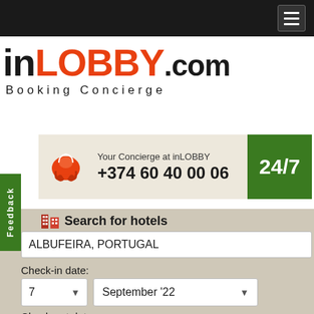[Figure (screenshot): inLOBBY.com Booking Concierge website screenshot showing hotel search form with phone number +374 60 40 00 06, location ALBUFEIRA PORTUGAL, check-in date 7 September '22, check-out date 8 September '22]
inLOBBY.com Booking Concierge
Your Concierge at inLOBBY +374 60 40 00 06
24/7
Search for hotels
ALBUFEIRA, PORTUGAL
Check-in date:
7   September '22
Check-out date:
8   September '22
Room number and type: